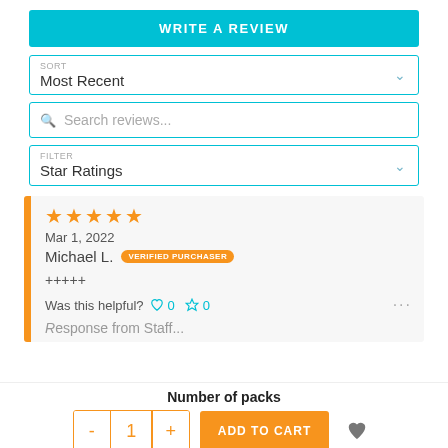WRITE A REVIEW
SORT: Most Recent
Search reviews...
FILTER: Star Ratings
★★★★★
Mar 1, 2022
Michael L. VERIFIED PURCHASER
+++++
Was this helpful? ♡0 △0
Number of packs
- 1 + ADD TO CART ♥